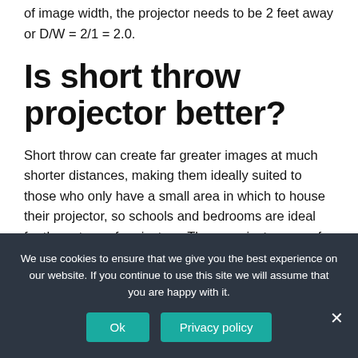of image width, the projector needs to be 2 feet away or D/W = 2/1 = 2.0.
Is short throw projector better?
Short throw can create far greater images at much shorter distances, making them ideally suited to those who only have a small area in which to house their projector, so schools and bedrooms are ideal for these type of projectors. These projectors can, for example, create an
We use cookies to ensure that we give you the best experience on our website. If you continue to use this site we will assume that you are happy with it.